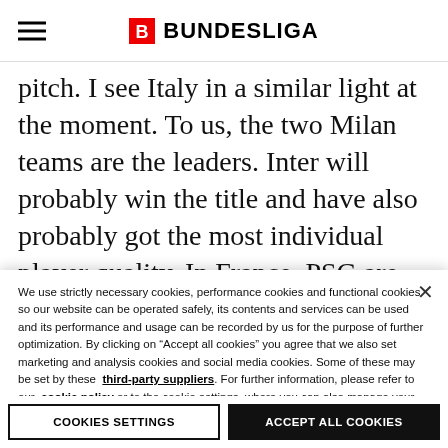BUNDESLIGA
pitch. I see Italy in a similar light at the moment. To us, the two Milan teams are the leaders. Inter will probably win the title and have also probably got the most individual player quality. In France, PSG are having a lot of trouble this season. I even see it as
We use strictly necessary cookies, performance cookies and functional cookies so our website can be operated safely, its contents and services can be used and its performance and usage can be recorded by us for the purpose of further optimization. By clicking on “Accept all cookies” you agree that we also set marketing and analysis cookies and social media cookies. Some of these may be set by these third-party suppliers. For further information, please refer to our cookie policy or to the cookie settings, where you can also manage your cookie preferences at any time.
COOKIES SETTINGS
ACCEPT ALL COOKIES